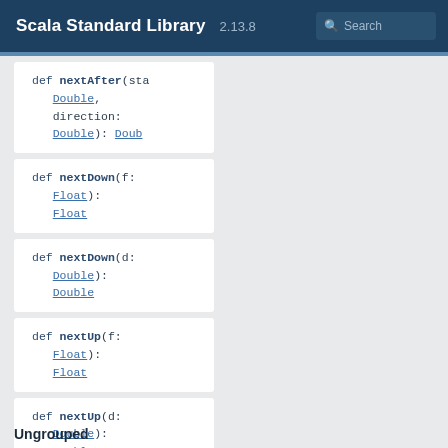Scala Standard Library 2.13.8
def nextAfter(sta Double, direction: Double): Doub
def nextDown(f: Float): Float
def nextDown(d: Double): Double
def nextUp(f: Float): Float
def nextUp(d: Double): Double
Ungrouped